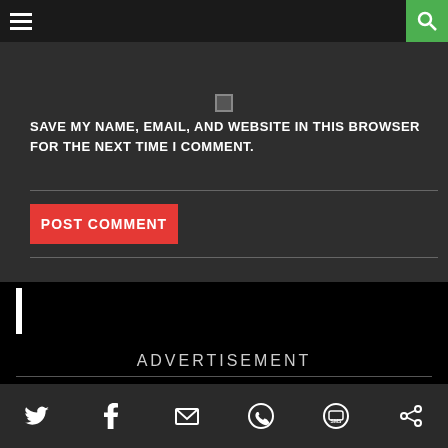Navigation bar with hamburger menu and search button
SAVE MY NAME, EMAIL, AND WEBSITE IN THIS BROWSER FOR THE NEXT TIME I COMMENT.
POST COMMENT
ADVERTISEMENT
[Figure (logo): AFCA logo with red X marks and sub-text, with colorful heart graphic below]
Social media icons: Twitter, Facebook, Email, WhatsApp, SMS, Other